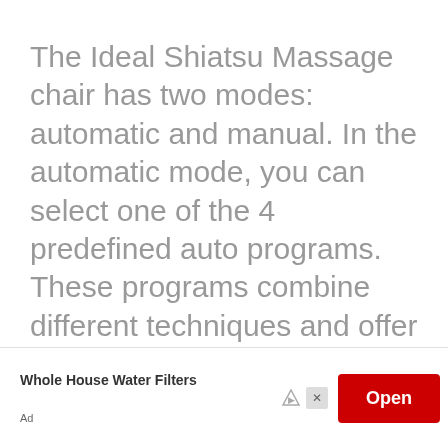The Ideal Shiatsu Massage chair has two modes: automatic and manual. In the automatic mode, you can select one of the 4 predefined auto programs. These programs combine different techniques and offer a full body massage. The manual mode allows you to customize your own massage session using the 4 built-in massage functions: shiatsu, kneading, spinal rolling, and vibrating.
You can take control of the rollers and air